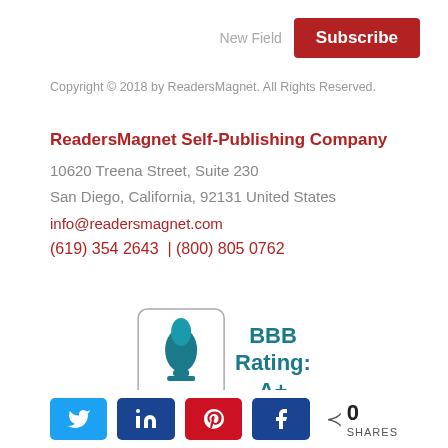New Field
Subscribe
Copyright © 2018 by ReadersMagnet. All Rights Reserved.
ReadersMagnet Self-Publishing Company
10620 Treena Street, Suite 230
San Diego, California, 92131 United States
info@readersmagnet.com
(619) 354 2643  |  (800) 805 0762
[Figure (logo): BBB (Better Business Bureau) logo badge with teal torch icon and 'BBB' text, alongside BBB Rating: A+]
0 SHARES